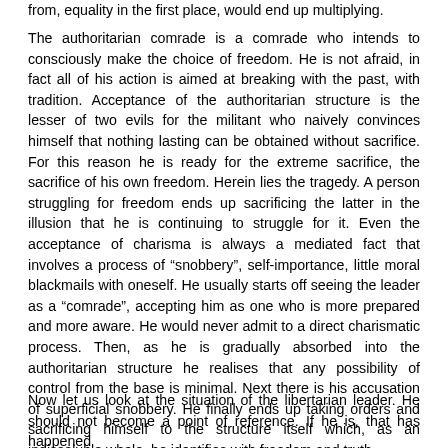from, equality in the first place, would end up multiplying.
The authoritarian comrade is a comrade who intends to consciously make the choice of freedom. He is not afraid, in fact all of his action is aimed at breaking with the past, with tradition. Acceptance of the authoritarian structure is the lesser of two evils for the militant who naively convinces himself that nothing lasting can be obtained without sacrifice. For this reason he is ready for the extreme sacrifice, the sacrifice of his own freedom. Herein lies the tragedy. A person struggling for freedom ends up sacrificing the latter in the illusion that he is continuing to struggle for it. Even the acceptance of charisma is always a mediated fact that involves a process of “snobbery”, self-importance, little moral blackmails with oneself. He usually starts off seeing the leader as a “comrade”, accepting him as one who is more prepared and more aware. He would never admit to a direct charismatic process. Then, as he is gradually absorbed into the authoritarian structure he realises that any possibility of control from the base is minimal. Next there is his accusation of superficial snobbery. He finally ends up taking orders and sacrificing himself to the structure itself which, as an indissoluble whole, he identifies with freedom and truth.
Now let us look at the situation of the libertarian leader. He should not become a point of reference. If he is, that has happened